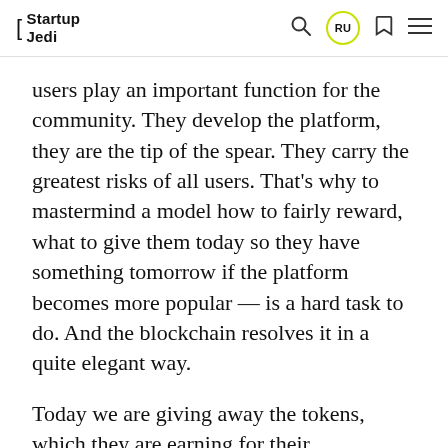Startup Jedi
users play an important function for the community. They develop the platform, they are the tip of the spear. They carry the greatest risks of all users. That’s why to mastermind a model how to fairly reward, what to give them today so they have something tomorrow if the platform becomes more popular — is a hard task to do. And the blockchain resolves it in a quite elegant way.
Today we are giving away the tokens, which they are earning for their contribution. If they help the community to grow in something bigger, then they receive a big reward. They become something like the first startup